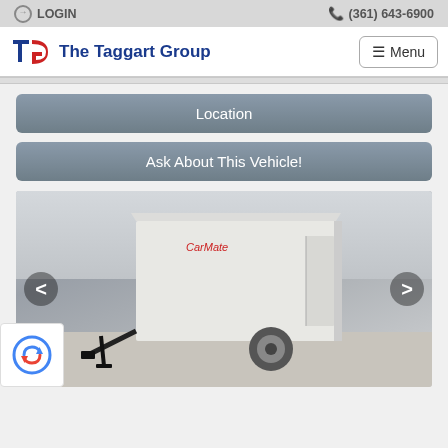LOGIN   (361) 643-6900
[Figure (logo): The Taggart Group logo with stylized TG letters in red and blue, and company name in blue]
≡ Menu
Location
Ask About This Vehicle!
[Figure (photo): White enclosed cargo trailer (CarMate brand) parked in a lot, single axle, with black tongue hitch, overcast sky background. Carousel navigation arrows on left and right sides.]